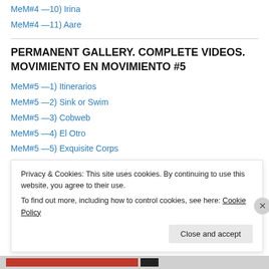MeM#4 —10) Irina
MeM#4 —11) Aare
PERMANENT GALLERY. COMPLETE VIDEOS. MOVIMIENTO EN MOVIMIENTO #5
MeM#5 —1) Itinerarios
MeM#5 —2) Sink or Swim
MeM#5 —3) Cobweb
MeM#5 —4) El Otro
MeM#5 —5) Exquisite Corps
MeM#5 —6) Songs of the Underworld
Privacy & Cookies: This site uses cookies. By continuing to use this website, you agree to their use. To find out more, including how to control cookies, see here: Cookie Policy